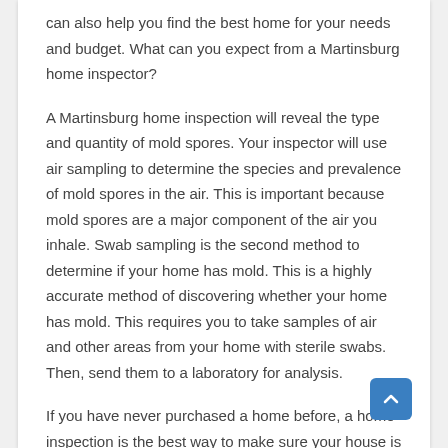can also help you find the best home for your needs and budget. What can you expect from a Martinsburg home inspector?
A Martinsburg home inspection will reveal the type and quantity of mold spores. Your inspector will use air sampling to determine the species and prevalence of mold spores in the air. This is important because mold spores are a major component of the air you inhale. Swab sampling is the second method to determine if your home has mold. This is a highly accurate method of discovering whether your home has mold. This requires you to take samples of air and other areas from your home with sterile swabs. Then, send them to a laboratory for analysis.
If you have never purchased a home before, a home inspection is the best way to make sure your house is